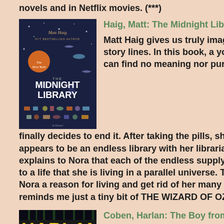novels and in Netflix movies. (***)
[Figure (photo): Book cover of The Midnight Library by Matt Haig — dark blue background with illustrated objects floating around the title]
Haig, Matt: The Midnight Library: A Novel
Matt Haig gives us truly imaginative plots and story lines. In this book, a young woman, Nora, can find no meaning nor purpose in her life and finally decides to end it. After taking the pills, she finds herself in what appears to be an endless library with her librarian, Miss Elm, who explains to Nora that each of the endless supply of books will take her to a life that she is living in a parallel universe. The purpose: to give Nora a reason for living and get rid of her many regrets. The book reminds me just a tiny bit of THE WIZARD OF OZ. (****)
[Figure (photo): Book cover of The Boy from the Woods by Harlan Coben — yellow text on dark background]
Coben, Harlan: The Boy from the Woods